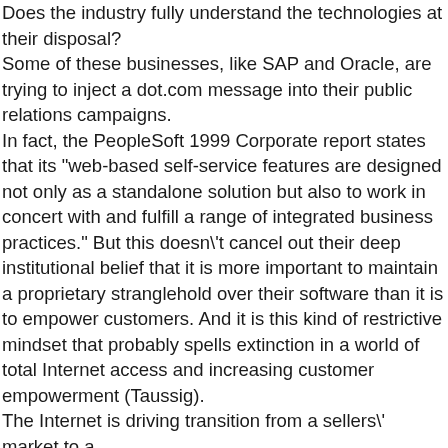Does the industry fully understand the technologies at their disposal? Some of these businesses, like SAP and Oracle, are trying to inject a dot.com message into their public relations campaigns. In fact, the PeopleSoft 1999 Corporate report states that its "web-based self-service features are designed not only as a standalone solution but also to work in concert with and fulfill a range of integrated business practices." But this doesn't cancel out their deep institutional belief that it is more important to maintain a proprietary stranglehold over their software than it is to empower customers. And it is this kind of restrictive mindset that probably spells extinction in a world of total Internet access and increasing customer empowerment (Taussig). The Internet is driving transition from a sellers' market to a